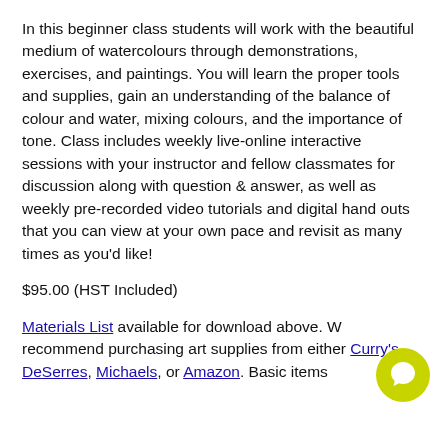In this beginner class students will work with the beautiful medium of watercolours through demonstrations, exercises, and paintings. You will learn the proper tools and supplies, gain an understanding of the balance of colour and water, mixing colours, and the importance of tone. Class includes weekly live-online interactive sessions with your instructor and fellow classmates for discussion along with question & answer, as well as weekly pre-recorded video tutorials and digital hand outs that you can view at your own pace and revisit as many times as you'd like!
$95.00 (HST Included)
Materials List available for download above. We recommend purchasing art supplies from either Curry's, DeSerres, Michaels, or Amazon. Basic items